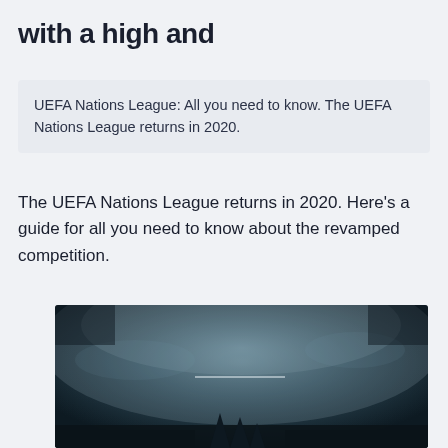with a high and
UEFA Nations League: All you need to know. The UEFA Nations League returns in 2020.
The UEFA Nations League returns in 2020. Here's a guide for all you need to know about the revamped competition.
[Figure (photo): Dark atmospheric stadium or sports venue photo with foggy/smoky atmosphere, showing what appears to be stadium lights or floodlights in misty conditions with silhouettes at the bottom]